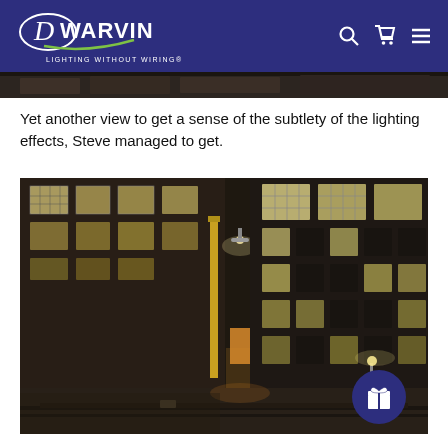DWARVIN - LIGHTING WITHOUT WIRING®
[Figure (photo): Narrow dark cropped strip showing top of a model train layout building scene]
Yet another view to get a sense of the subtlety of the lighting effects, Steve managed to get.
[Figure (photo): Night-time model train layout showing illuminated industrial brick warehouse buildings with lit windows, street lamp, doorways glowing warmly, railroad tracks in foreground, dark moody atmosphere. A gift/reward button appears in bottom right corner.]